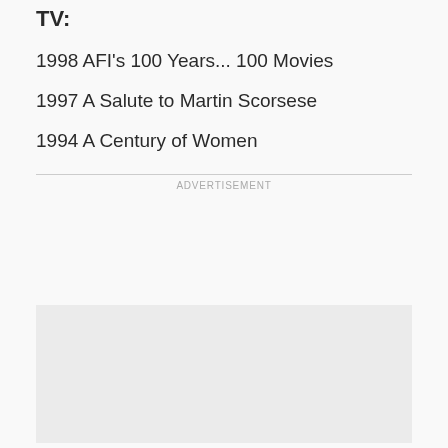TV:
1998 AFI's 100 Years... 100 Movies
1997 A Salute to Martin Scorsese
1994 A Century of Women
ADVERTISEMENT